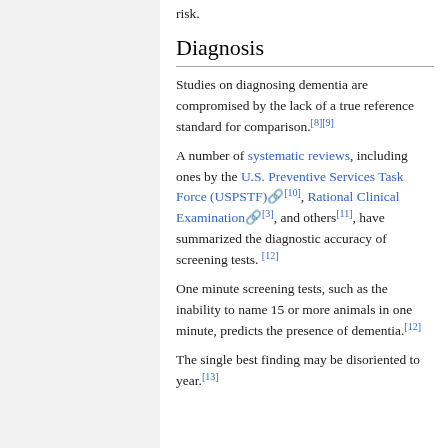risk.
Diagnosis
Studies on diagnosing dementia are compromised by the lack of a true reference standard for comparison.[8][9]
A number of systematic reviews, including ones by the U.S. Preventive Services Task Force (USPSTF)[10], Rational Clinical Examination[3], and others[11], have summarized the diagnostic accuracy of screening tests. [12]
One minute screening tests, such as the inability to name 15 or more animals in one minute, predicts the presence of dementia.[12]
The single best finding may be disoriented to year.[13]